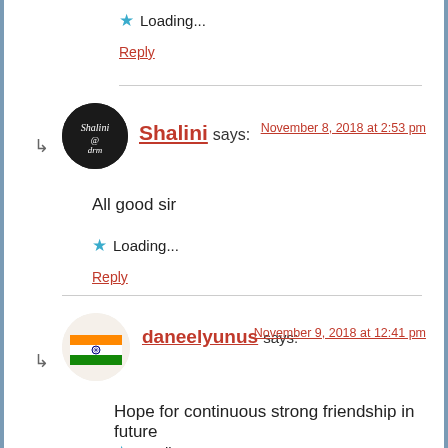★ Loading...
Reply
Shalini says: November 8, 2018 at 2:53 pm
All good sir
★ Loading...
Reply
daneelyunus says: November 9, 2018 at 12:41 pm
Hope for continuous strong friendship in future
★ Loading...